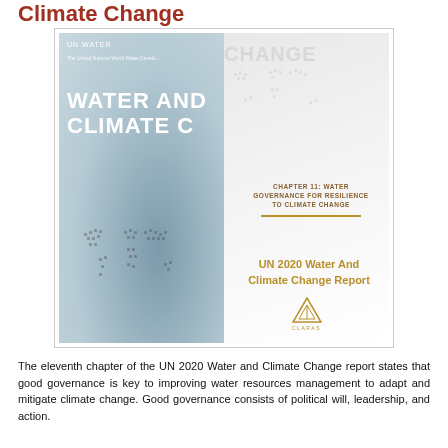Climate Change
[Figure (photo): Book cover of the UN 2020 Water And Climate Change Report showing 'WATER AND CLIMATE CHANGE' title. Left half shows the physical book with blue-gray cover and world map graphic. Right half shows a white overlay with 'CHAPTER 11: WATER GOVERNANCE FOR RESILIENCE TO CLIMATE CHANGE' and the report title 'UN 2020 Water And Climate Change Report' with a triangle logo.]
The eleventh chapter of the UN 2020 Water and Climate Change report states that good governance is key to improving water resources management to adapt and mitigate climate change. Good governance consists of political will, leadership, and action.